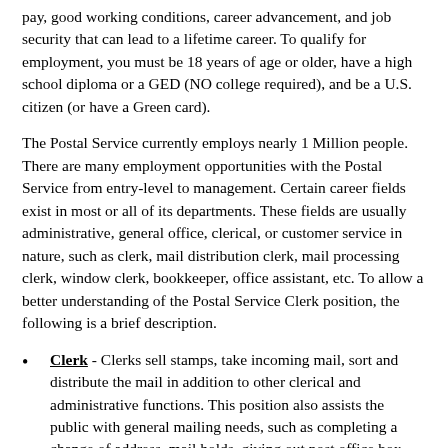pay, good working conditions, career advancement, and job security that can lead to a lifetime career. To qualify for employment, you must be 18 years of age or older, have a high school diploma or a GED (NO college required), and be a U.S. citizen (or have a Green card).
The Postal Service currently employs nearly 1 Million people. There are many employment opportunities with the Postal Service from entry-level to management. Certain career fields exist in most or all of its departments. These fields are usually administrative, general office, clerical, or customer service in nature, such as clerk, mail distribution clerk, mail processing clerk, window clerk, bookkeeper, office assistant, etc. To allow a better understanding of the Postal Service Clerk position, the following is a brief description.
Clerk - Clerks sell stamps, take incoming mail, sort and distribute the mail in addition to other clerical and administrative functions. This position also assists the public with general mailing needs, such as completing a change of address, mail holds, giving out post office box keys, etc.
The Postal Service was created over 200 years ago and